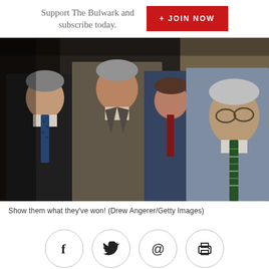Support The Bulwark and subscribe today.
+ JOIN NOW
[Figure (photo): Four men in suits walking in a corridor. The man on the right wears glasses and a green striped tie. The man on the left wears a blue dotted tie. Photo credit: Drew Angerer/Getty Images.]
Show them what they've won! (Drew Angerer/Getty Images)
[Figure (infographic): Row of four social sharing icons in circles: Facebook (f), Twitter (bird), Email (@), Print (printer)]